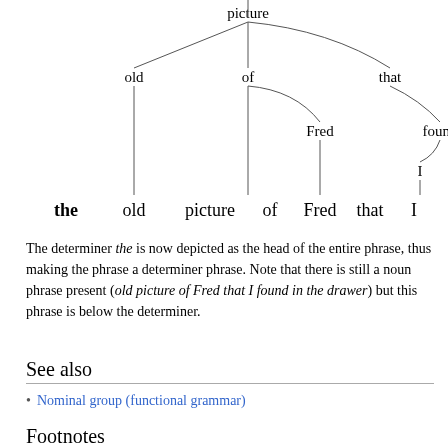[Figure (other): A partial parse tree diagram showing a determiner phrase. The word 'picture' is at the top, branching down to 'old', 'of', and 'that'. 'of' branches to 'Fred'. 'that' branches to 'found', which branches to 'I'. Below the tree, the sentence reads: the old picture of Fred that I found]
The determiner the is now depicted as the head of the entire phrase, thus making the phrase a determiner phrase. Note that there is still a noun phrase present (old picture of Fred that I found in the drawer) but this phrase is below the determiner.
See also
Nominal group (functional grammar)
Footnotes